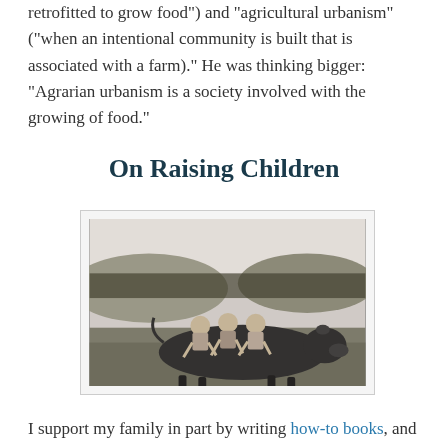retrofitted to grow food") and "agricultural urbanism" ("when an intentional community is built that is associated with a farm)." He was thinking bigger: "Agrarian urbanism is a society involved with the growing of food."
On Raising Children
[Figure (photo): Black and white photograph of three young children sitting on the back of a cow in a field, with hills and trees in the background.]
I support my family in part by writing how-to books, and I